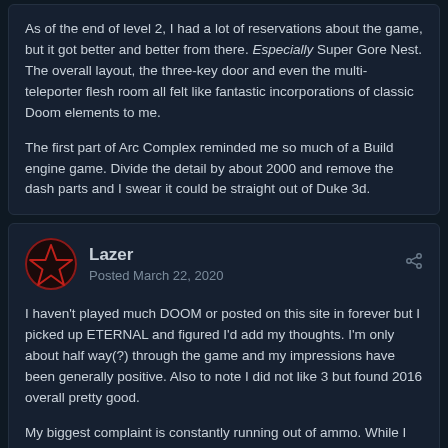As of the end of level 2, I had a lot of reservations about the game, but it got better and better from there. Especially Super Gore Nest. The overall layout, the three-key door and even the multi-teleporter flesh room all felt like fantastic incorporations of classic Doom elements to me.

The first part of Arc Complex reminded me so much of a Build engine game. Divide the detail by about 2000 and remove the dash parts and I swear it could be straight out of Duke 3d.
Lazer
Posted March 22, 2020
I haven't played much DOOM or posted on this site in forever but I picked up ETERNAL and figured I'd add my thoughts. I'm only about half way(?) through the game and my impressions have been generally positive. Also to note I did not like 3 but found 2016 overall pretty good.

My biggest complaint is constantly running out of ammo. While I do find it somewhat engaging to glory kill for health and chainsaw for...